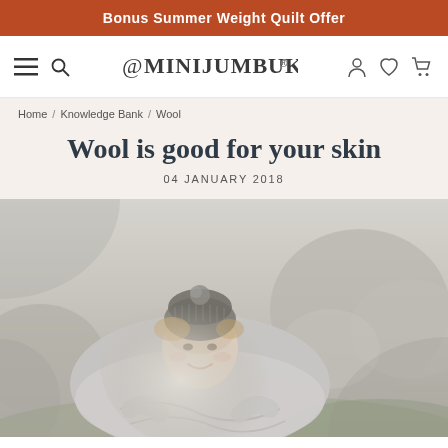Bonus Summer Weight Quilt Offer
≡  🔍  MINIJUMBUK®  👤  ♡  🛒
Home / Knowledge Bank / Wool
Wool is good for your skin
04 JANUARY 2018
[Figure (photo): A smiling young woman wearing a grey wool blanket wrapped around her and a grey knitted beanie hat, outdoors among large rocks in a natural landscape]